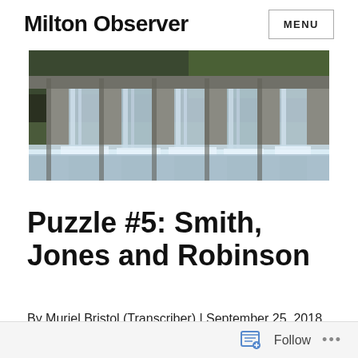Milton Observer | MENU
[Figure (photo): Photograph of a dam with multiple water spillways cascading water, concrete pillars visible, trees in background]
Puzzle #5: Smith, Jones and Robinson
By Muriel Bristol (Transcriber) | September 25, 2018
Follow ...